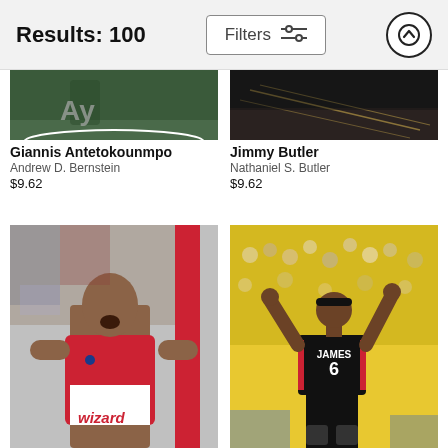Results: 100
[Figure (photo): Partial top of photo: Giannis Antetokounmpo basketball action shot]
[Figure (photo): Partial top of photo: Jimmy Butler basketball action shot]
Giannis Antetokounmpo
Andrew D. Bernstein
$9.62
Jimmy Butler
Nathaniel S. Butler
$9.62
[Figure (photo): Washington Wizards player celebrating, wearing red jersey #wizard]
[Figure (photo): LeBron James, jersey number 6 JAMES, arms raised before yellow-clad crowd]